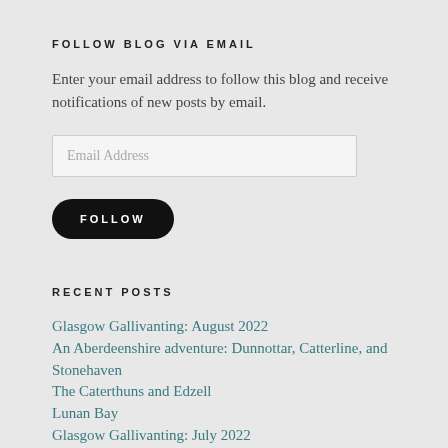FOLLOW BLOG VIA EMAIL
Enter your email address to follow this blog and receive notifications of new posts by email.
Email Address
FOLLOW
RECENT POSTS
Glasgow Gallivanting: August 2022
An Aberdeenshire adventure: Dunnottar, Catterline, and Stonehaven
The Caterthuns and Edzell
Lunan Bay
Glasgow Gallivanting: July 2022